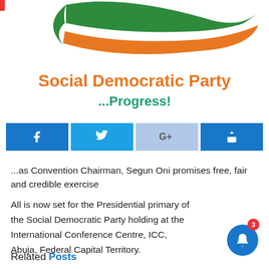[Figure (logo): Social Democratic Party logo with green and orange swoosh/ribbon design]
Social Democratic Party
...Progress!
[Figure (infographic): Social media share buttons: Facebook, Twitter, Google+, Share]
...as Convention Chairman, Segun Oni promises free, fair and credible exercise
All is now set for the Presidential primary of the Social Democratic Party holding at the International Conference Centre, ICC, Abuja, Federal Capital Territory.
Related Posts